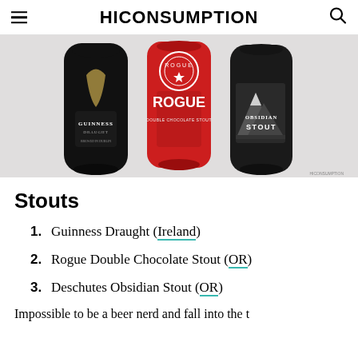HICONSUMPTION
[Figure (photo): Three stout beer bottles: Guinness Draught (black bottle), Rogue Double Chocolate Stout (red can), and Deschutes Obsidian Stout (dark bottle with mountain label), displayed against a light gray background.]
Stouts
1. Guinness Draught (Ireland)
2. Rogue Double Chocolate Stout (OR)
3. Deschutes Obsidian Stout (OR)
Impossible to be a beer nerd and fall into the t...